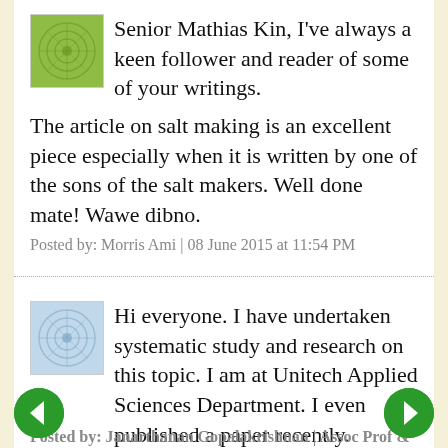Senior Mathias Kin, I've always a keen follower and reader of some of your writings.
The article on salt making is an excellent piece especially when it is written by one of the sons of the salt makers. Well done mate! Wawe dibno.
Posted by: Morris Ami | 08 June 2015 at 11:54 PM
Hi everyone. I have undertaken systematic study and research on this topic. I am at Unitech Applied Sciences Department. I even published a paper recently.
Posted by: Janarthanan Gopalakrishnan | Assoc Prof &